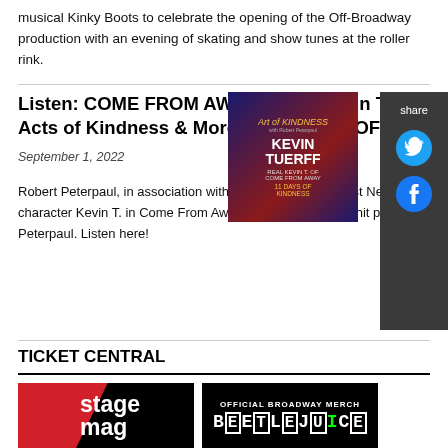musical Kinky Boots to celebrate the opening of the Off-Broadway production with an evening of skating and show tunes at the roller rink.
Listen: COME FROM AWAY's Real Kevin T. Talks Random Acts of Kindness & More on THE ART OF KINDNESS Podcast
September 1, 2022
[Figure (illustration): Podcast cover art for The Art of Kindness with Robert Peterpaul featuring Kevin Tuerff]
[Figure (infographic): Share panel with Twitter and Facebook icons on dark background]
Robert Peterpaul, in association with the Broadway Podcast Network, welcomed Kevin Tuerff, who the character Kevin T. in Come From Away is based on, to the hit podcast The Art of Kindness with Robert Peterpaul. Listen here!
TICKET CENTRAL
[Figure (logo): Stage Mag logo on black and red background]
[Figure (logo): Official Broadway Merch - Beetlejuice logo on black background]